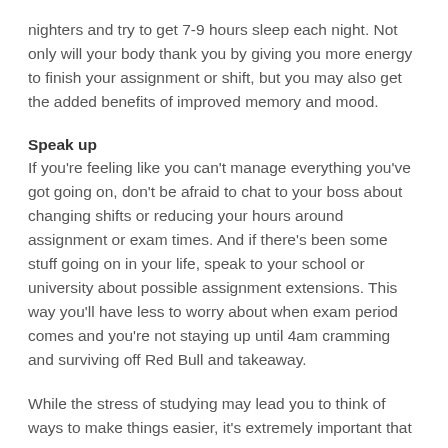nighters and try to get 7-9 hours sleep each night. Not only will your body thank you by giving you more energy to finish your assignment or shift, but you may also get the added benefits of improved memory and mood.
Speak up
If you're feeling like you can't manage everything you've got going on, don't be afraid to chat to your boss about changing shifts or reducing your hours around assignment or exam times. And if there's been some stuff going on in your life, speak to your school or university about possible assignment extensions. This way you'll have less to worry about when exam period comes and you're not staying up until 4am cramming and surviving off Red Bull and takeaway.
While the stress of studying may lead you to think of ways to make things easier, it's extremely important that